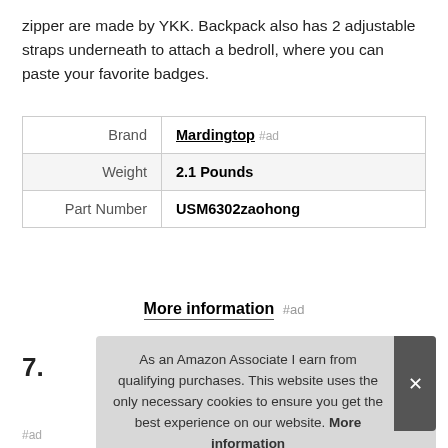zipper are made by YKK. Backpack also has 2 adjustable straps underneath to attach a bedroll, where you can paste your favorite badges.
|  |  |
| --- | --- |
| Brand | Mardingtop #ad |
| Weight | 2.1 Pounds |
| Part Number | USM6302zaohong |
More information #ad
7.
As an Amazon Associate I earn from qualifying purchases. This website uses the only necessary cookies to ensure you get the best experience on our website. More information
#ad